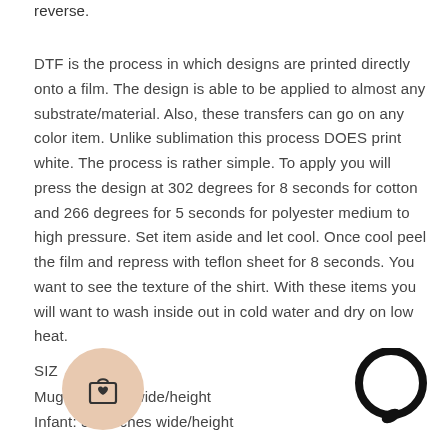reverse.
DTF is the process in which designs are printed directly onto a film. The design is able to be applied to almost any substrate/material. Also, these transfers can go on any color item. Unlike sublimation this process DOES print white. The process is rather simple. To apply you will press the design at 302 degrees for 8 seconds for cotton and 266 degrees for 5 seconds for polyester medium to high pressure. Set item aside and let cool. Once cool peel the film and repress with teflon sheet for 8 seconds. You want to see the texture of the shirt. With these items you will want to wash inside out in cold water and dry on low heat.
SIZE
Mug: 4 inches wide/height
Infant: 5-6 inches wide/height
[Figure (illustration): Shopping bag icon with a heart, inside a peach/tan circle]
[Figure (illustration): Black chat bubble / message circle icon]